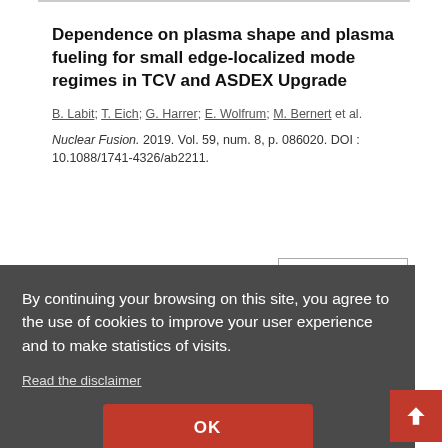Dependence on plasma shape and plasma fueling for small edge-localized mode regimes in TCV and ASDEX Upgrade
B. Labit; T. Eich; G. Harrer; E. Wolfrum; M. Bernert et al.
Nuclear Fusion. 2019. Vol. 59, num. 8, p. 086020. DOI : 10.1088/1741-4326/ab2211.
Detailed record
By continuing your browsing on this site, you agree to the use of cookies to improve your user experience and to make statistics of visits.
Read the disclaimer
OK
sher
...alysis of radial dependence and global effects on the zero particle flux condition in a TCV pla...
Plasma Physics And Controlled Fusion. 2019. Vol. 61, num. 6, p.